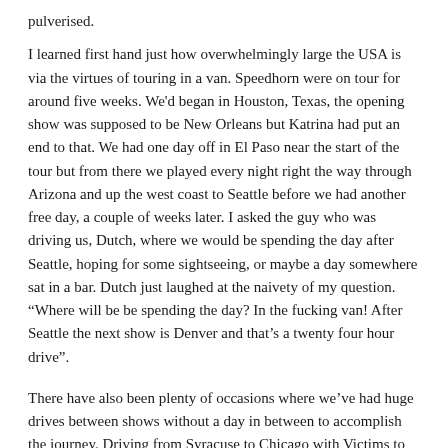pulverised.
I learned first hand just how overwhelmingly large the USA is via the virtues of touring in a van. Speedhorn were on tour for around five weeks. We'd began in Houston, Texas, the opening show was supposed to be New Orleans but Katrina had put an end to that. We had one day off in El Paso near the start of the tour but from there we played every night right the way through Arizona and up the west coast to Seattle before we had another free day, a couple of weeks later. I asked the guy who was driving us, Dutch, where we would be spending the day after Seattle, hoping for some sightseeing, or maybe a day somewhere sat in a bar. Dutch just laughed at the naivety of my question. “Where will be be spending the day? In the fucking van! After Seattle the next show is Denver and that’s a twenty four hour drive”.
There have also been plenty of occasions where we’ve had huge drives between shows without a day in between to accomplish the journey. Driving from Syracuse to Chicago with Victims to make a show the next night was a particularly challenging journey, where we packed up and left right after the show to make it. It was knackering but worthwhile since the Chicago gig was an opening slot with Amebix. If that wasn’t worth it alone then the old screamo band Nema were also on the bill, although it was only me who gave a fuck about that particular detail.
Through all the years of travelling we’ve owned or rented an assortment of vans or